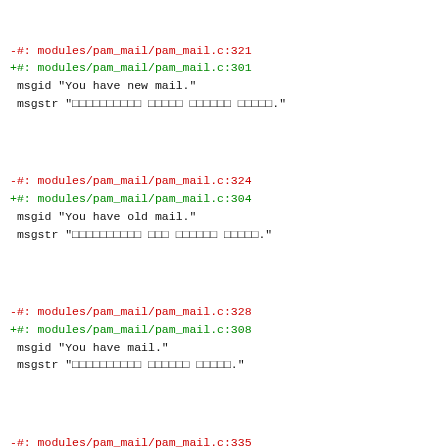-#: modules/pam_mail/pam_mail.c:321
+#: modules/pam_mail/pam_mail.c:301
 msgid "You have new mail."
 msgstr "..."
-#: modules/pam_mail/pam_mail.c:324
+#: modules/pam_mail/pam_mail.c:304
 msgid "You have old mail."
 msgstr "..."
-#: modules/pam_mail/pam_mail.c:328
+#: modules/pam_mail/pam_mail.c:308
 msgid "You have mail."
 msgstr "..."
-#: modules/pam_mail/pam_mail.c:335
+#: modules/pam_mail/pam_mail.c:315
 #, c-format
 msgid "You have no mail in folder %s."
 msgstr "%s ..."
-#: modules/pam_mail/pam_mail.c:339
+#: modules/pam_mail/pam_mail.c:319
 #, c-format
 msgid "You have new mail in folder %s."
 msgstr "%s ..."
-#: modules/pam_mail/pam_mail.c:343
+#: modules/pam_mail/pam_mail.c:323
 #, c-format